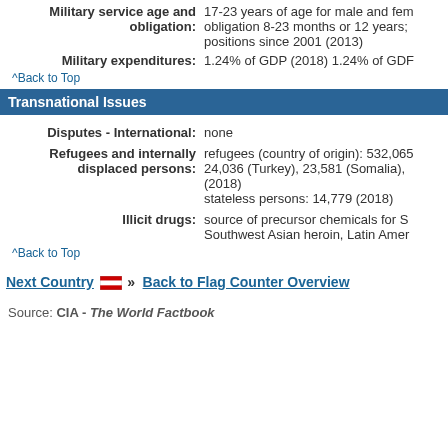Military service age and obligation: 17-23 years of age for male and female voluntary military service; obligation 8-23 months or 12 years; women have served in non-combat positions since 2001 (2013)
Military expenditures: 1.24% of GDP (2018) 1.24% of GDP
^Back to Top
Transnational Issues
Disputes - International: none
Refugees and internally displaced persons: refugees (country of origin): 532,065 24,036 (Turkey), 23,581 (Somalia), (2018) stateless persons: 14,779 (2018)
Illicit drugs: source of precursor chemicals for Southwest Asian heroin, Latin Amer
^Back to Top
Next Country » Back to Flag Counter Overview
Source: CIA - The World Factbook